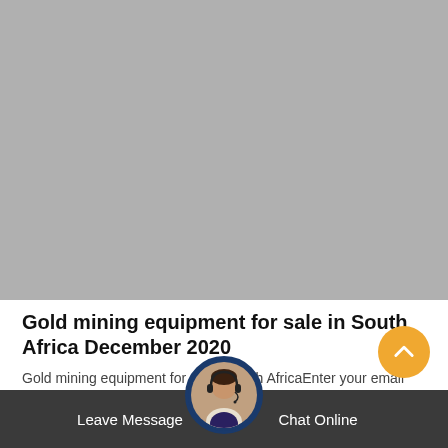[Figure (photo): Large gray placeholder image occupying the top portion of the page]
Gold mining equipment for sale in South Africa December 2020
Gold mining equipment for sale in South AfricaEnter your email address to receive alerts when we have new listings available for Gold mining equipment for sale in South Africa. Email field